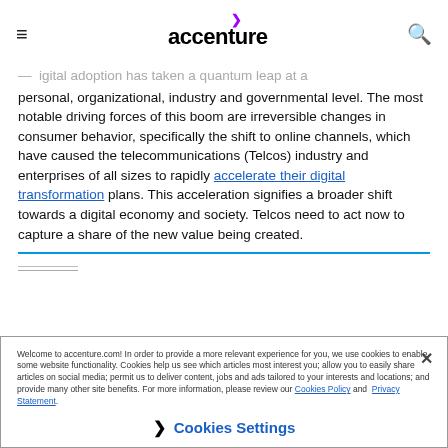accenture
igital adoption has taken a quantum leap at a personal, organizational, industry and governmental level. The most notable driving forces of this boom are irreversible changes in consumer behavior, specifically the shift to online channels, which have caused the telecommunications (Telcos) industry and enterprises of all sizes to rapidly accelerate their digital transformation plans. This acceleration signifies a broader shift towards a digital economy and society. Telcos need to act now to capture a share of the new value being created.
Welcome to accenture.com! In order to provide a more relevant experience for you, we use cookies to enable some website functionality. Cookies help us see which articles most interest you; allow you to easily share articles on social media; permit us to deliver content, jobs and ads tailored to your interests and locations; and provide many other site benefits. For more information, please review our Cookies Policy and Privacy Statement.
Cookies Settings